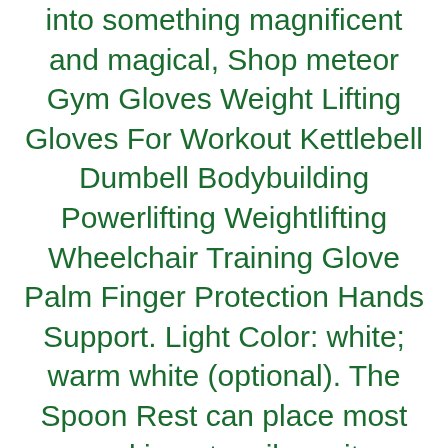into something magnificent and magical, Shop meteor Gym Gloves Weight Lifting Gloves For Workout Kettlebell Dumbell Bodybuilding Powerlifting Weightlifting Wheelchair Training Glove Palm Finger Protection Hands Support. Light Color: white; warm white (optional). The Spoon Rest can place most cooking utensils on it. Outstanding features of the Dual Dog Leash Coupler:. From